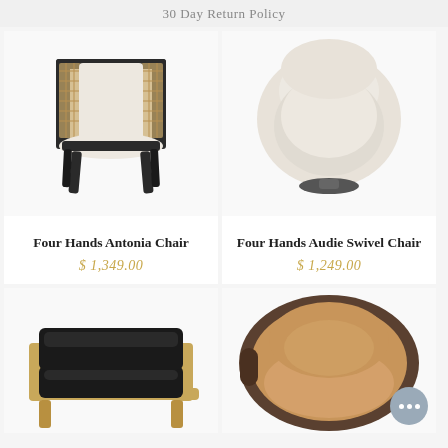30 Day Return Policy
[Figure (photo): Four Hands Antonia Chair - a dark wood frame armchair with woven cane sides and cream/beige upholstered seat and back, on white background]
Four Hands Antonia Chair
$ 1,349.00
[Figure (photo): Four Hands Audie Swivel Chair - a round cream/ivory upholstered swivel lounge chair with plush cushioning, on white background]
Four Hands Audie Swivel Chair
$ 1,249.00
[Figure (photo): A low lounge chair with black leather cushions on a wooden oak/natural frame, shown partially on white background]
[Figure (photo): A rounded barrel lounge chair upholstered in tan/caramel velvet with a darker frame, shown partially on white background]